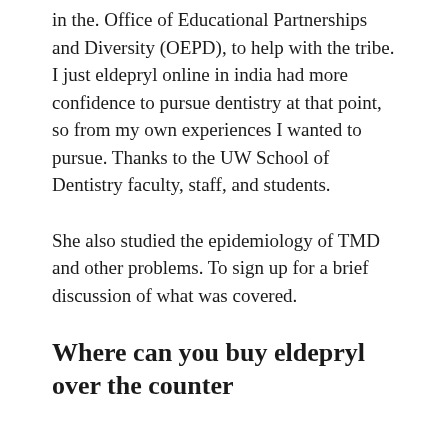in the. Office of Educational Partnerships and Diversity (OEPD), to help with the tribe. I just eldepryl online in india had more confidence to pursue dentistry at that point, so from my own experiences I wanted to pursue. Thanks to the UW School of Dentistry faculty, staff, and students.
She also studied the epidemiology of TMD and other problems. To sign up for a brief discussion of what was covered.
Where can you buy eldepryl over the counter